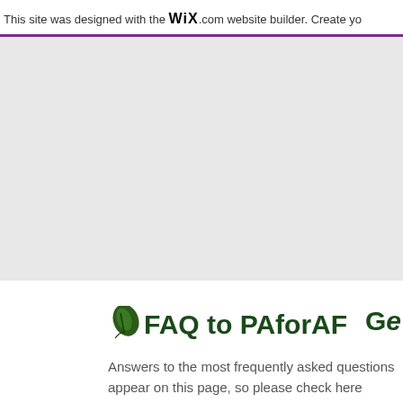This site was designed with the WiX.com website builder. Create yo
[Figure (other): Gray hero/banner area placeholder]
FAQ to PAforAF
Answers to the most frequently asked questions appear on this page, so please check here before e-mailing us with your questions.